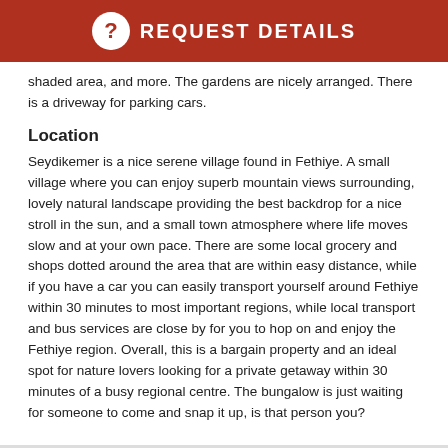REQUEST DETAILS
shaded area, and more. The gardens are nicely arranged. There is a driveway for parking cars.
Location
Seydikemer is a nice serene village found in Fethiye. A small village where you can enjoy superb mountain views surrounding, lovely natural landscape providing the best backdrop for a nice stroll in the sun, and a small town atmosphere where life moves slow and at your own pace. There are some local grocery and shops dotted around the area that are within easy distance, while if you have a car you can easily transport yourself around Fethiye within 30 minutes to most important regions, while local transport and bus services are close by for you to hop on and enjoy the Fethiye region. Overall, this is a bargain property and an ideal spot for nature lovers looking for a private getaway within 30 minutes of a busy regional centre. The bungalow is just waiting for someone to come and snap it up, is that person you?